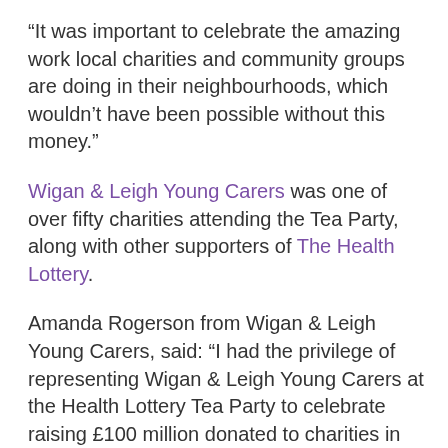“It was important to celebrate the amazing work local charities and community groups are doing in their neighbourhoods, which wouldn’t have been possible without this money.”
Wigan & Leigh Young Carers was one of over fifty charities attending the Tea Party, along with other supporters of The Health Lottery.
Amanda Rogerson from Wigan & Leigh Young Carers, said: “I had the privilege of representing Wigan & Leigh Young Carers at the Health Lottery Tea Party to celebrate raising £100 million donated to charities in the community including the one I